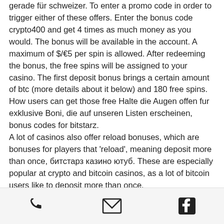gerade für schweizer. To enter a promo code in order to trigger either of these offers. Enter the bonus code crypto400 and get 4 times as much money as you would. The bonus will be available in the account. A maximum of $/€5 per spin is allowed. After redeeming the bonus, the free spins will be assigned to your casino. The first deposit bonus brings a certain amount of btc (more details about it below) and 180 free spins. How users can get those free Halte die Augen offen fur exklusive Boni, die auf unseren Listen erscheinen, bonus codes for bitstarz.
A lot of casinos also offer reload bonuses, which are bonuses for players that 'reload', meaning deposit more than once, битстарз казино ютуб. These are especially popular at crypto and bitcoin casinos, as a lot of bitcoin users like to deposit more than once.
[Figure (other): Footer bar with three icons: phone, email (envelope), and Facebook]